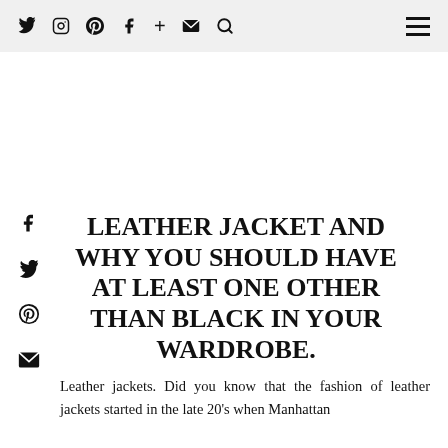Navigation bar with social icons: Twitter, Instagram, Pinterest, Facebook, Plus, Email, Search; hamburger menu
LEATHER JACKET AND WHY YOU SHOULD HAVE AT LEAST ONE OTHER THAN BLACK IN YOUR WARDROBE.
Leather jackets. Did you know that the fashion of leather jackets started in the late 20's when Manhattan